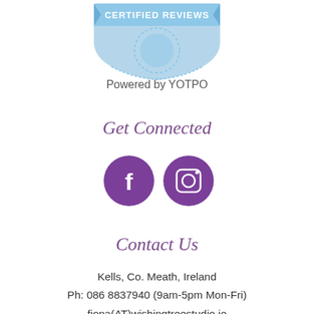[Figure (logo): Certified Reviews badge logo - blue shield shape with 'CERTIFIED REVIEWS' text]
Powered by YOTPO
Get Connected
[Figure (illustration): Two purple circular social media icons: Facebook (f) and Instagram (camera)]
Contact Us
Kells, Co. Meath, Ireland
Ph: 086 8837940 (9am-5pm Mon-Fri)
fiona(AT)wishingtreestudio.ie
Quick Links
Search
Privacy policy